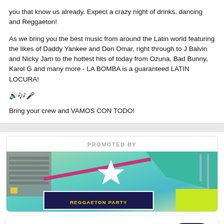you that know us already. Expect a crazy night of drinks, dancing and Reggaeton!
As we bring you the best music from around the Latin world featuring the likes of Daddy Yankee and Don Omar, right through to J Balvin and Nicky Jam to the hottest hits of today from Ozuna, Bad Bunny, Karol G and many more - LA BOMBA is a guaranteed LATIN LOCURA!
🔊🎶🎤
Bring your crew and VAMOS CON TODO!
PROMOTED BY
[Figure (illustration): Colorful event promotional illustration showing a keyboard, pink diagonal line, teal and yellow geometric shapes, a star/badge icon, and a dark blue banner reading REGGAETON PARTY in yellow letters.]
Fatsoma uses cookies to give you the best experience. View Privacy Policy
Ok